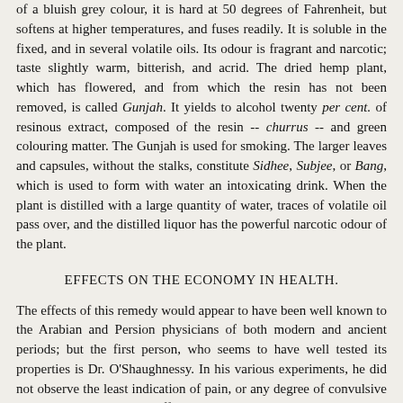of a bluish grey colour, it is hard at 50 degrees of Fahrenheit, but softens at higher temperatures, and fuses readily. It is soluble in the fixed, and in several volatile oils. Its odour is fragrant and narcotic; taste slightly warm, bitterish, and acrid. The dried hemp plant, which has flowered, and from which the resin has not been removed, is called Gunjah. It yields to alcohol twenty per cent. of resinous extract, composed of the resin -- churrus -- and green colouring matter. The Gunjah is used for smoking. The larger leaves and capsules, without the stalks, constitute Sidhee, Subjee, or Bang, which is used to form with water an intoxicating drink. When the plant is distilled with a large quantity of water, traces of volatile oil pass over, and the distilled liquor has the powerful narcotic odour of the plant.
EFFECTS ON THE ECONOMY IN HEALTH.
The effects of this remedy would appear to have been well known to the Arabian and Persion physicians of both modern and ancient periods; but the first person, who seems to have well tested its properties is Dr. O'Shaughnessy. In his various experiments, he did not observe the least indication of pain, or any degree of convulsive movement. They all, he affirms, "led to one remarkable result, -- that while carnivorous animals and fish, dogs, cats, swine, vultures, crows, and adjutants invariably and speedily exhibited the intoxicating influence of the drug, the graminivorous, -- such as the horse, deer, monkey, goat, sheep, and cow, -- experienced but